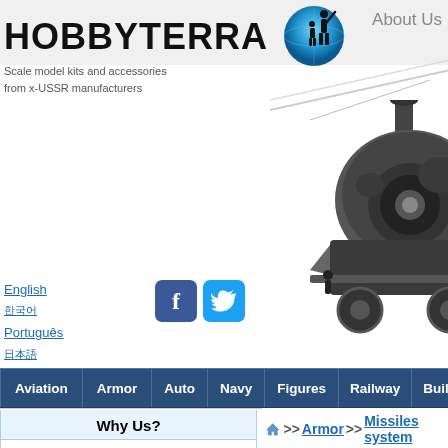[Figure (logo): HobbyTerra logo with globe and silhouette figures]
Scale model kits and accessories
from x-USSR manufacturers
About Us
[Figure (photo): Hero image with steam locomotive and military aircraft]
English
한국어
Português
日本語
[Figure (other): Facebook and Twitter social media icon buttons]
Aviation | Armor | Auto | Navy | Figures | Railway | Buildings/Dion
Why Us?
In business since 2002
Shipping in 2 business days
Hard-to-find items in one place
If we List it we Stock it!
Loyalty Program
>> Armor >> Missiles system
Air Defense System
SA-75 Dvina / SA-2 Guideline
[Figure (photo): Product photo of SA-75 Dvina / SA-2 Guideline air defense system model kit]